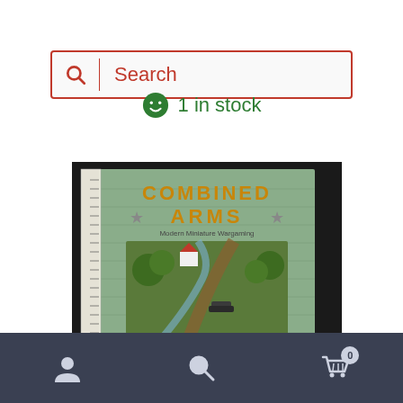[Figure (screenshot): Search bar UI element with magnifying glass icon on left and the placeholder text 'Search' in crimson/red color, bordered with red outline]
1 in stock
[Figure (photo): Photo of a board game book titled 'Combined Arms - Modern Miniature Wargaming' showing a wargame scene with miniature terrain on the cover. A ruler is visible on the left side of the book. Text at bottom reads 'A Complete Modern Miniatures Rules Set'.]
[Figure (screenshot): Bottom navigation bar with dark slate background showing three icons: a person/account icon on the left, a search/magnifying glass in the center, and a shopping cart with badge showing '0' on the right.]